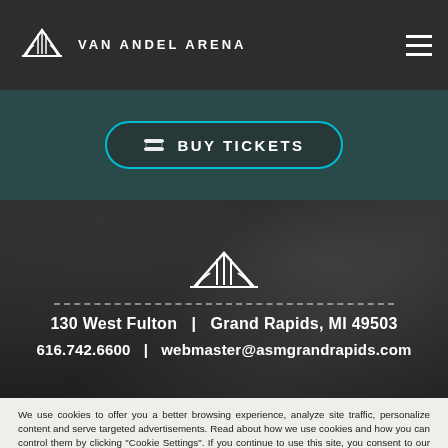VAN ANDEL ARENA
[Figure (logo): Van Andel Arena logo with arena roof silhouette icon and text VAN ANDEL ARENA]
BUY TICKETS
[Figure (photo): Dark background photo of arena interior with Van Andel Arena logo overlay, dashed line separator, address 130 West Fulton | Grand Rapids, MI 49503, phone 616.742.6600 | webmaster@asmgrandrapids.com]
130 West Fulton   |   Grand Rapids, MI 49503
616.742.6600   |   webmaster@asmgrandrapids.com
We use cookies to offer you a better browsing experience, analyze site traffic, personalize content and serve targeted advertisements. Read about how we use cookies and how you can control them by clicking "Cookie Settings". If you continue to use this site, you consent to our use of cookies.
Cookie Settings
Accept Cookies